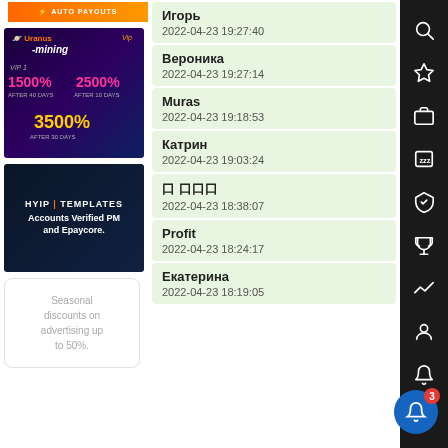[Figure (screenshot): Orange 'AUTO PAYOUTS' banner button at top left]
[Figure (screenshot): Uranus Mining advertisement banner showing VIP1 1500% after 40 days, 2500% after 10 days, 3500% after 30 days]
[Figure (screenshot): HYIP Templates banner: Accounts Verified PM and Epaycore.]
Seasonal discounts on advertising up to 50%.
Игорь
2022-04-23 19:27:40
Вероника
2022-04-23 19:27:14
Muras
2022-04-23 19:18:53
Катрин
2022-04-23 19:03:24
口 口口口
2022-04-23 18:38:07
Profit
2022-04-23 18:24:17
Екатерина
2022-04-23 18:19:05